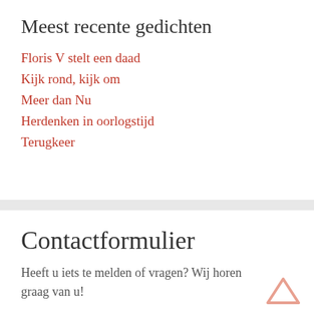Meest recente gedichten
Floris V stelt een daad
Kijk rond, kijk om
Meer dan Nu
Herdenken in oorlogstijd
Terugkeer
Contactformulier
Heeft u iets te melden of vragen? Wij horen graag van u!